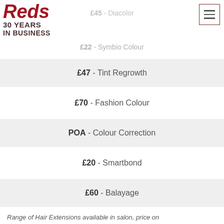[Figure (logo): Reds 30 Years In Business logo in dark red/maroon]
£45 - Diacolor
£22 - Symbio Colour
£47 - Tint Regrowth
£70 - Fashion Colour
POA - Colour Correction
£20 - Smartbond
£60 - Balayage
Range of Hair Extensions available in salon, price on